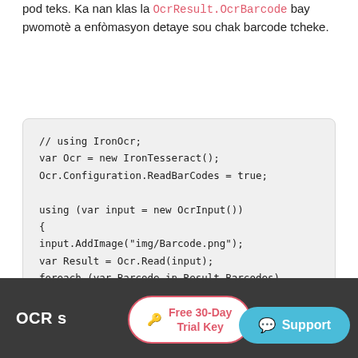pod teks. Ka nan klas la OcrResult.OcrBarcode bay pwomotè a enfòmasyon detaye sou chak barcode tcheke.
OCR s... Free 30-Day Trial Key ...ik nan i... Support